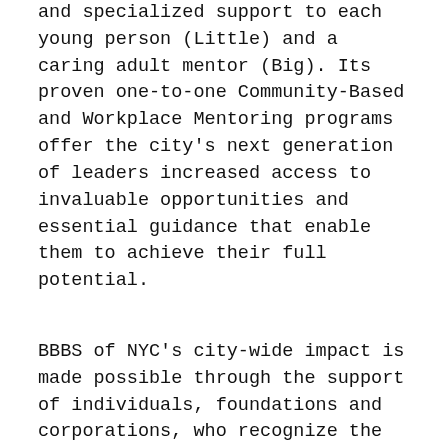and specialized support to each young person (Little) and a caring adult mentor (Big). Its proven one-to-one Community-Based and Workplace Mentoring programs offer the city's next generation of leaders increased access to invaluable opportunities and essential guidance that enable them to achieve their full potential.
BBBS of NYC's city-wide impact is made possible through the support of individuals, foundations and corporations, who recognize the urgent need for all youth to have access to mentors. All contributions enable BBBS of NYC to deepen the investment in current match relationships and expand its reach.
Approximately $3,500 funds the establishment of a new one-on-one match relationship for one year. To learn more, become a mentor, donate and/or offer support, please visit